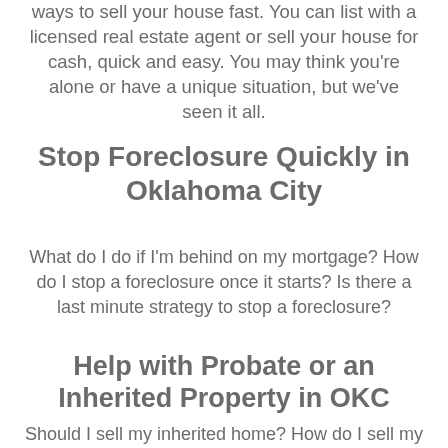ways to sell your house fast. You can list with a licensed real estate agent or sell your house for cash, quick and easy. You may think you're alone or have a unique situation, but we've seen it all.
Stop Foreclosure Quickly in Oklahoma City
What do I do if I'm behind on my mortgage? How do I stop a foreclosure once it starts? Is there a last minute strategy to stop a foreclosure?
Help with Probate or an Inherited Property in OKC
Should I sell my inherited home? How do I sell my inherited home fast for cash? Do I